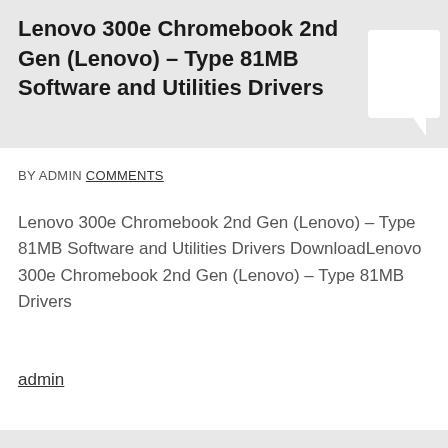Lenovo 300e Chromebook 2nd Gen (Lenovo) – Type 81MB Software and Utilities Drivers
BY ADMIN COMMENTS
Lenovo 300e Chromebook 2nd Gen (Lenovo) – Type 81MB Software and Utilities Drivers DownloadLenovo 300e Chromebook 2nd Gen (Lenovo) – Type 81MB Drivers
admin